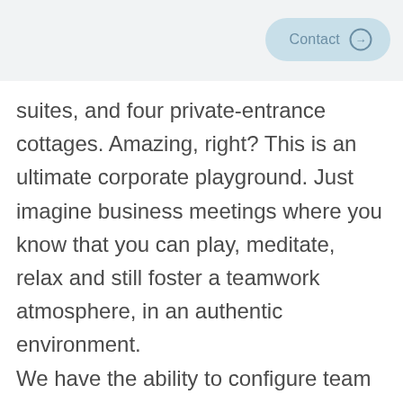Contact
suites, and four private-entrance cottages. Amazing, right? This is an ultimate corporate playground. Just imagine business meetings where you know that you can play, meditate, relax and still foster a teamwork atmosphere, in an authentic environment. We have the ability to configure team building opportunities, immersive travel and educational for corporate travel groups, rewarding your company with irreplaceable experiences within